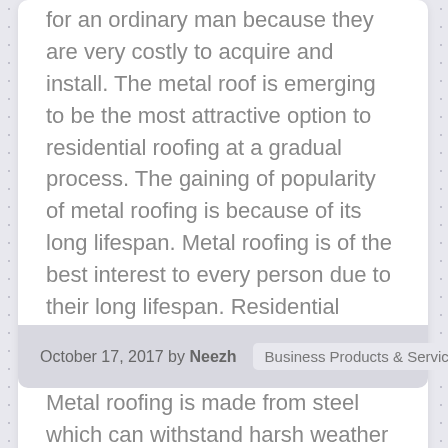for an ordinary man because they are very costly to acquire and install. The metal roof is emerging to be the most attractive option to residential roofing at a gradual process. The gaining of popularity of metal roofing is because of its long lifespan. Metal roofing is of the best interest to every person due to their long lifespan. Residential roofing options that can stay for over fifty years is the metal roofing. Metal roofing is made from steel which can withstand harsh weather conditions such as severe storms. Since metal roofs are fire resistance,they are the best type of residential roofing recommended for residential roofing. Besides, metal roofing materials are at a reasonable cost which is affordable by every person.
October 17, 2017 by Neezh   Business Products & Services